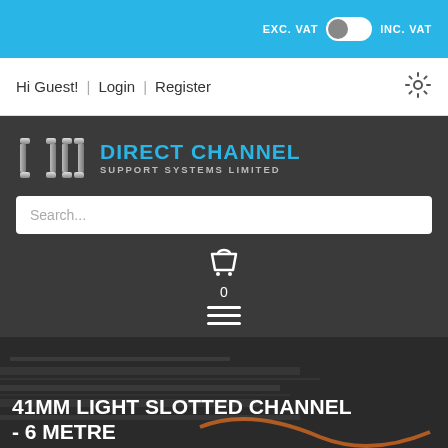EXC. VAT   INC. VAT
Hi Guest!  |  Login  |  Register
[Figure (logo): Direct Channel Support Systems Limited logo with stylized DC bracket icon in silver/chrome and blue text]
Search...
0
41MM LIGHT SLOTTED CHANNEL - 6 METRE
Home / Search / 41mm Light Slotted Channel - 6 Metre